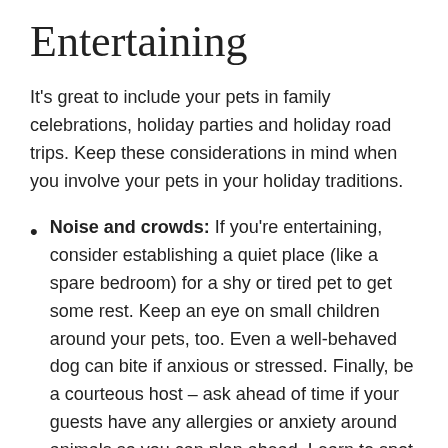Entertaining
It’s great to include your pets in family celebrations, holiday parties and holiday road trips. Keep these considerations in mind when you involve your pets in your holiday traditions.
Noise and crowds: If you’re entertaining, consider establishing a quiet place (like a spare bedroom) for a shy or tired pet to get some rest. Keep an eye on small children around your pets, too. Even a well-behaved dog can bite if anxious or stressed. Finally, be a courteous host – ask ahead of time if your guests have any allergies or anxiety around animals so you can plan ahead. Learn to spot the signs of an anxious